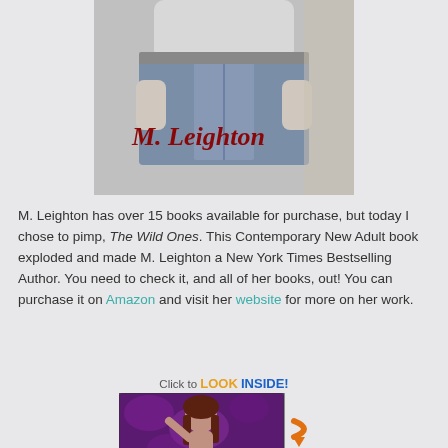[Figure (photo): Black and white photo of a person's torso in jeans with 'M. Leighton' text in dark red overlaid on the lower portion]
M. Leighton has over 15 books available for purchase, but today I chose to pimp, The Wild Ones. This Contemporary New Adult book exploded and made M. Leighton a New York Times Bestselling Author. You need to check it, and all of her books, out! You can purchase it on Amazon and visit her website for more on her work.
[Figure (photo): Book cover thumbnail with 'Click to LOOK INSIDE!' label and orange arrow, showing a woman with dark hair against a purple background]